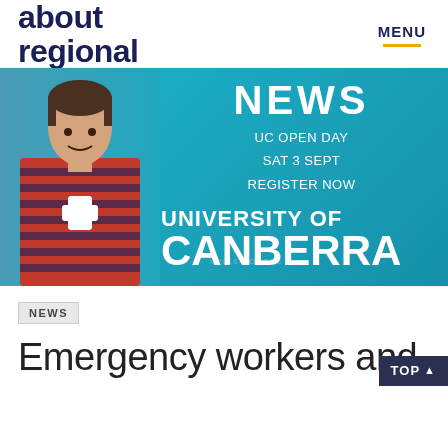about regional | MENU
[Figure (photo): University of Canberra advertisement banner showing a young man in a red striped t-shirt on a teal/blue background, with text: NEWS, UC OPEN DAY, SAT 3 SEPT, REGISTER NOW, UNIVERSITY OF CANBERRA]
NEWS
Emergency workers and